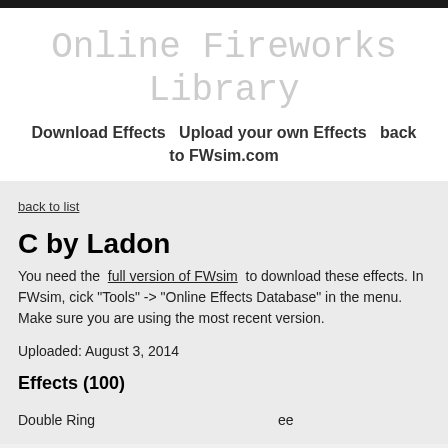Online Fireworks Library
Download Effects  Upload your own Effects  back to FWsim.com
back to list
C by Ladon
You need the full version of FWsim to download these effects. In FWsim, cick "Tools" -> "Online Effects Database" in the menu. Make sure you are using the most recent version.
Uploaded: August 3, 2014
Effects (100)
Double Ring    ee